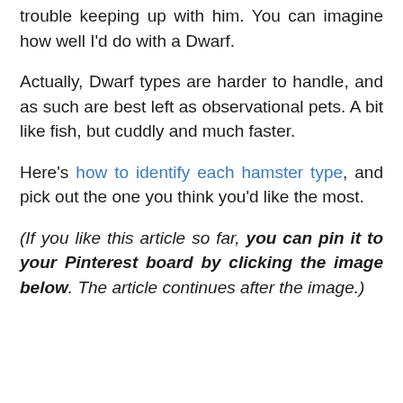trouble keeping up with him. You can imagine how well I'd do with a Dwarf.
Actually, Dwarf types are harder to handle, and as such are best left as observational pets. A bit like fish, but cuddly and much faster.
Here's how to identify each hamster type, and pick out the one you think you'd like the most.
(If you like this article so far, you can pin it to your Pinterest board by clicking the image below. The article continues after the image.)